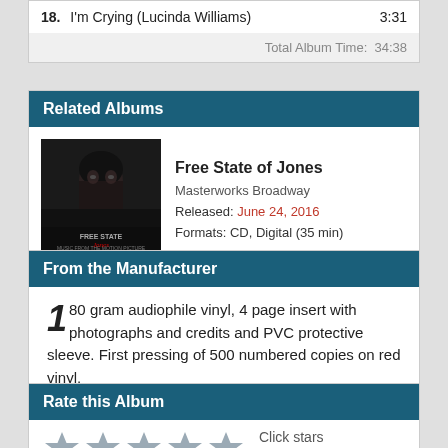| # | Title | Time |
| --- | --- | --- |
| 18. | I'm Crying (Lucinda Williams) | 3:31 |
|  | Total Album Time: | 34:38 |
Related Albums
[Figure (photo): Album cover for Free State of Jones - dark dramatic portrait of a bearded man]
Free State of Jones
Masterworks Broadway
Released: June 24, 2016
Formats: CD, Digital (35 min)
From the Manufacturer
180 gram audiophile vinyl, 4 page insert with photographs and credits and PVC protective sleeve. First pressing of 500 numbered copies on red vinyl.
Rate this Album
Click stars to rate.